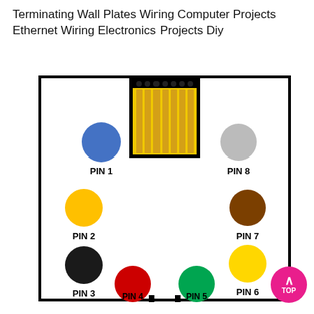Terminating Wall Plates Wiring Computer Projects Ethernet Wiring Electronics Projects Diy
[Figure (schematic): Ethernet RJ45 wall plate wiring diagram showing 8 pins labeled PIN 1 through PIN 8, each with a colored circle: PIN 1 (blue), PIN 2 (yellow/orange), PIN 3 (black), PIN 4 (red), PIN 5 (green), PIN 6 (yellow), PIN 7 (brown), PIN 8 (gray). Center top shows a connector block with gold pins and dotted contacts.]